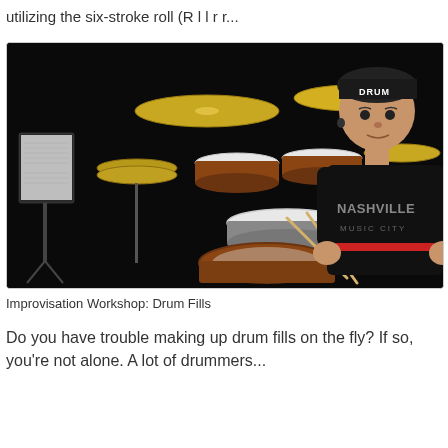utilizing the six-stroke roll (R l l r r...
[Figure (photo): A drummer wearing a black 'DRUM' beanie and a black Nashville Music City t-shirt, seated behind a full drum kit with cymbals and drums, holding drumsticks, against a dark background. A music stand with sheet music is visible on the left.]
Improvisation Workshop: Drum Fills
Do you have trouble making up drum fills on the fly? If so, you're not alone. A lot of drummers...